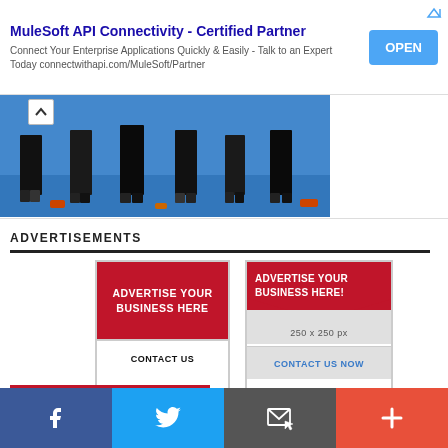[Figure (screenshot): MuleSoft API Connectivity advertisement banner with OPEN button]
[Figure (photo): Photo strip showing people's lower bodies standing on a blue floor, with a chevron-up collapse icon]
ADVERTISEMENTS
[Figure (infographic): Red advertisement placeholder box reading ADVERTISE YOUR BUSINESS HERE with CONTACT US button]
[Figure (infographic): Red advertisement placeholder box reading ADVERTISE YOUR BUSINESS HERE! 250 x 250 px with CONTACT US NOW button]
[Figure (screenshot): Bottom navigation bar with Facebook, Twitter, email, and plus icons]